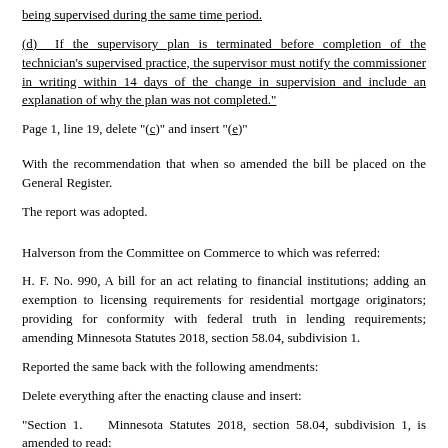being supervised during the same time period.
(d) If the supervisory plan is terminated before completion of the technician's supervised practice, the supervisor must notify the commissioner in writing within 14 days of the change in supervision and include an explanation of why the plan was not completed."
Page 1, line 19, delete "(c)" and insert "(e)"
With the recommendation that when so amended the bill be placed on the General Register.
The report was adopted.
Halverson from the Committee on Commerce to which was referred:
H. F. No. 990, A bill for an act relating to financial institutions; adding an exemption to licensing requirements for residential mortgage originators; providing for conformity with federal truth in lending requirements; amending Minnesota Statutes 2018, section 58.04, subdivision 1.
Reported the same back with the following amendments:
Delete everything after the enacting clause and insert:
"Section 1.    Minnesota Statutes 2018, section 58.04, subdivision 1, is amended to read:
Subdivision 1.  Residential mortgage originator licensing requirements. (a) No person shall...